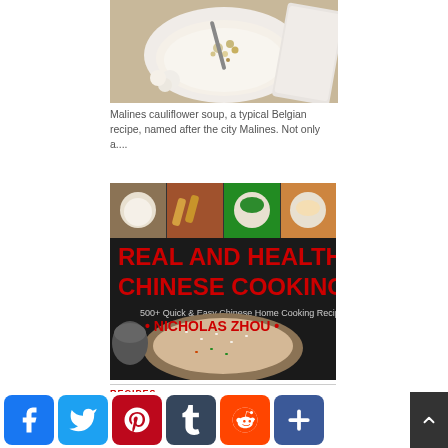[Figure (photo): Top-down photo of Malines cauliflower soup in a white bowl with garnish, on a wooden cutting board with cauliflower florets around it]
Malines cauliflower soup, a typical Belgian recipe, named after the city Malines. Not only a....
[Figure (photo): Book cover: Real and Healthy Chinese Cooking - 500+ Quick & Easy Chinese Home Cooking Recipes by Nicholas Zhou, with food photos at top and fried rice image in center]
RECIPES
[Figure (other): Social media share buttons: Facebook, Twitter, Pinterest, Tumblr, Reddit, Share (plus sign)]